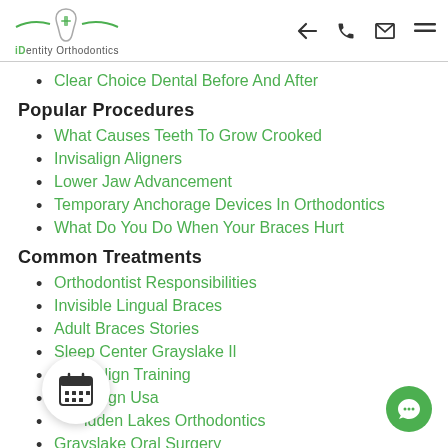iDentity Orthodontics — navigation header
Clear Choice Dental Before And After
Popular Procedures
What Causes Teeth To Grow Crooked
Invisalign Aligners
Lower Jaw Advancement
Temporary Anchorage Devices In Orthodontics
What Do You Do When Your Braces Hurt
Common Treatments
Orthodontist Responsibilities
Invisible Lingual Braces
Adult Braces Stories
Sleep Center Grayslake Il
Invisalign Training
Invisalign Usa
Hidden Lakes Orthodontics
Grayslake Oral Surgery